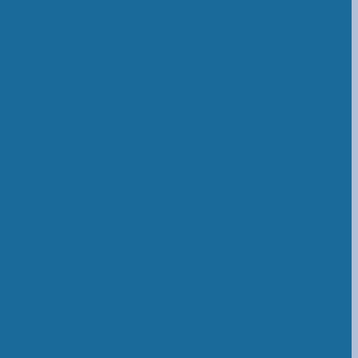Academy and other zonal training institutions at the same rate as admissible to their counterparts
79. Special allowances and perquisites:
To enable the Force to efficiently its functions of Protection and safeguarding of railway property, it is treated as 'railway servants' within the meaning of the RPF Act, yet it is an armed force of the Union;
The Central Government may also prescribe such other matters as it considers appropriate.
80. Provident fund, gratuity, pension, m
80.1 In matters relating to-
Provident fund,
Gratuity,
Pension,
Medical facilities,
Pass and Privilege Ticket Orders.
Educational assistance
Traveling and transfer allowance, and
Other financial matters,
Superior officers and enrolled members of the Force unless specific provisions has been made in the Act, on par with those holding the corresponding ranks or grades